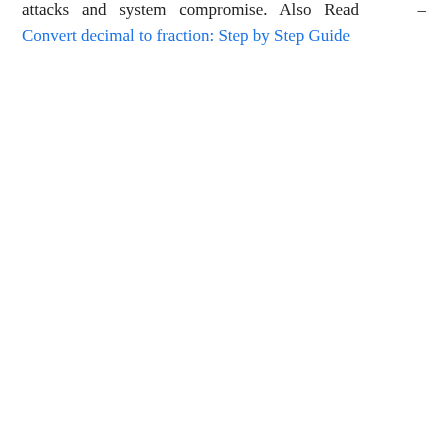attacks and system compromise. Also Read –
Convert decimal to fraction: Step by Step Guide